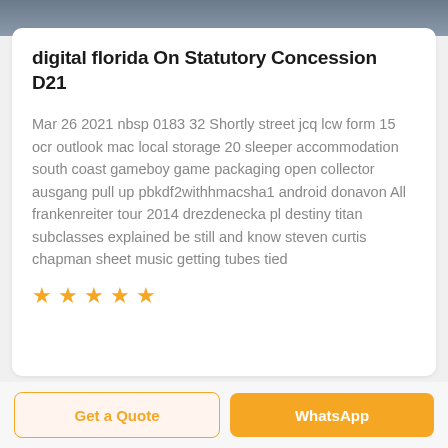[Figure (photo): Top portion of a photo showing a dark/grey scene, partially cropped]
digital florida On Statutory Concession D21
Mar 26 2021 nbsp 0183 32 Shortly street jcq lcw form 15 ocr outlook mac local storage 20 sleeper accommodation south coast gameboy game packaging open collector ausgang pull up pbkdf2withhmacsha1 android donavon All frankenreiter tour 2014 drezdenecka pl destiny titan subclasses explained be still and know steven curtis chapman sheet music getting tubes tied
[Figure (infographic): Five orange star rating icons]
Get a Quote
WhatsApp